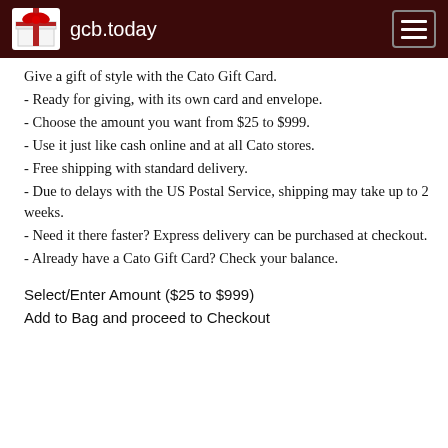gcb.today
Give a gift of style with the Cato Gift Card.
- Ready for giving, with its own card and envelope.
- Choose the amount you want from $25 to $999.
- Use it just like cash online and at all Cato stores.
- Free shipping with standard delivery.
- Due to delays with the US Postal Service, shipping may take up to 2 weeks.
- Need it there faster? Express delivery can be purchased at checkout.
- Already have a Cato Gift Card? Check your balance.
Select/Enter Amount ($25 to $999)
Add to Bag and proceed to Checkout